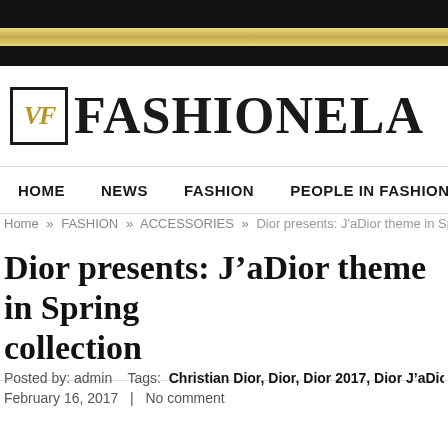FASHIONELA – navigation header with logo
Home » FASHION » ACCESSORIES » Dior presents: J'aDior theme in Spring
Dior presents: J'aDior theme in Spring collection
Posted by: admin   Tags: Christian Dior, Dior, Dior 2017, Dior J'aDior, Maria Grazia Chiu February 16, 2017 | No comment